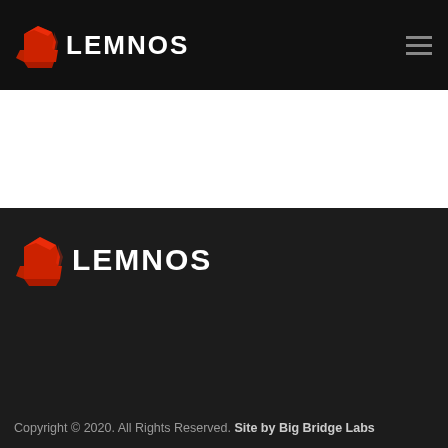LEMNOS
[Figure (logo): Lemnos logo with red anvil icon and LEMNOS text in footer section]
Copyright © 2020. All Rights Reserved. Site by Big Bridge Labs